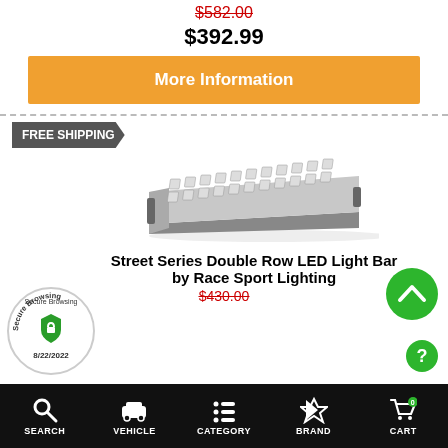$582.00 (strikethrough original price)
$392.99
More Information
FREE SHIPPING
[Figure (photo): LED light bar - Street Series Double Row LED Light Bar by Race Sport Lighting, shown at an angle]
Street Series Double Row LED Light Bar by Race Sport Lighting
$430.00 (strikethrough, partially visible)
[Figure (illustration): Secure Browsing badge with shield icon, dated 8/22/2022]
[Figure (illustration): Green circle scroll-to-top button with upward chevron]
[Figure (illustration): Green circle help/info button with question mark]
SEARCH  VEHICLE  CATEGORY  BRAND  CART (0)